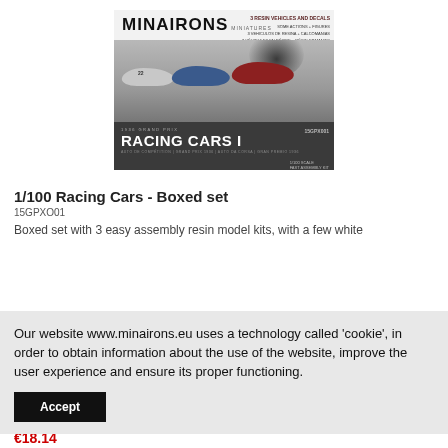[Figure (photo): Minairons Miniatures product box image showing '1936 Grand Prix Racing Cars I' (15GPX001) with three resin model racing cars (silver, blue, red) on a dark background with smoke effect.]
1/100 Racing Cars - Boxed set
15GPXO01
Boxed set with 3 easy assembly resin model kits, with a few white
Our website www.minairons.eu uses a technology called 'cookie', in order to obtain information about the use of the website, improve the user experience and ensure its proper functioning.
Accept
€18.14